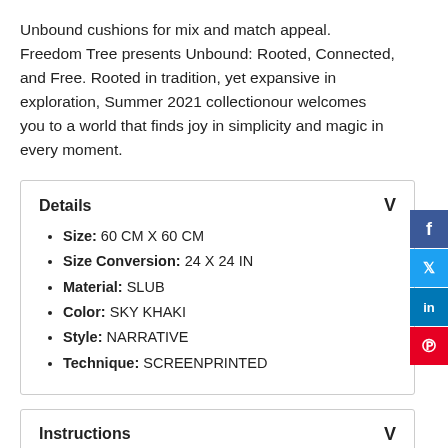Unbound cushions for mix and match appeal. Freedom Tree presents Unbound: Rooted, Connected, and Free. Rooted in tradition, yet expansive in exploration, Summer 2021 collectionour welcomes you to a world that finds joy in simplicity and magic in every moment.
Details
Size: 60 CM X 60 CM
Size Conversion: 24 X 24 IN
Material: SLUB
Color: SKY KHAKI
Style: NARRATIVE
Technique: SCREENPRINTED
Instructions